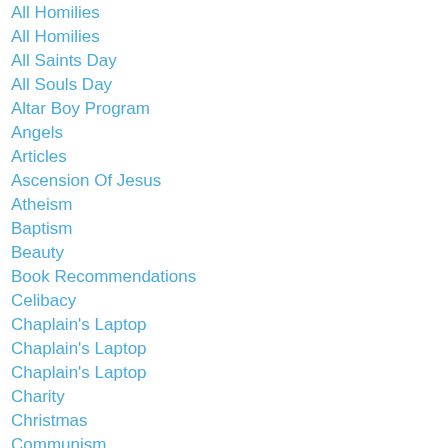All Homilies
All Homilies
All Saints Day
All Souls Day
Altar Boy Program
Angels
Articles
Ascension Of Jesus
Atheism
Baptism
Beauty
Book Recommendations
Celibacy
Chaplain's Laptop
Chaplain's Laptop
Chaplain's Laptop
Charity
Christmas
Communism
Contraception
Corpus Christi